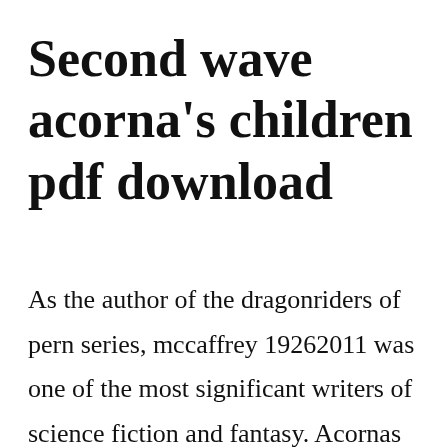Second wave acorna's children pdf download
As the author of the dragonriders of pern series, mccaffrey 19262011 was one of the most significant writers of science fiction and fantasy. Acornas triumph book 7 in acorna series by anne mccaffrey and elizabeth ann scarborough acornas triumph anne mccaffrey and elizabeth annscarborough an imprint